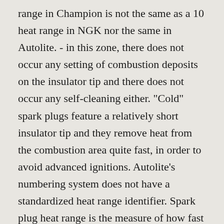range in Champion is not the same as a 10 heat range in NGK nor the same in Autolite. - in this zone, there does not occur any setting of combustion deposits on the insulator tip and there does not occur any self-cleaning either. "Cold" spark plugs feature a relatively short insulator tip and they remove heat from the combustion area quite fast, in order to avoid advanced ignitions. Autolite's numbering system does not have a standardized heat range identifier. Spark plug heat range is the measure of how fast the spark plug tip dissipates combustion heat. To cold spark plug for a given engine, B. See cross reference chart for Champion RC12MCC4 and more than